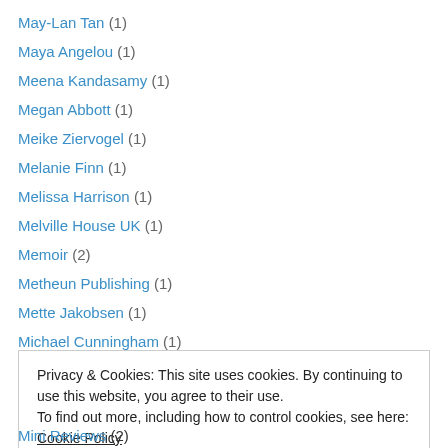May-Lan Tan (1)
Maya Angelou (1)
Meena Kandasamy (1)
Megan Abbott (1)
Meike Ziervogel (1)
Melanie Finn (1)
Melissa Harrison (1)
Melville House UK (1)
Memoir (2)
Metheun Publishing (1)
Mette Jakobsen (1)
Michael Cunningham (1)
Michael Frayn (2)
Privacy & Cookies: This site uses cookies. By continuing to use this website, you agree to their use. To find out more, including how to control cookies, see here: Cookie Policy
Mini Reviews (2)